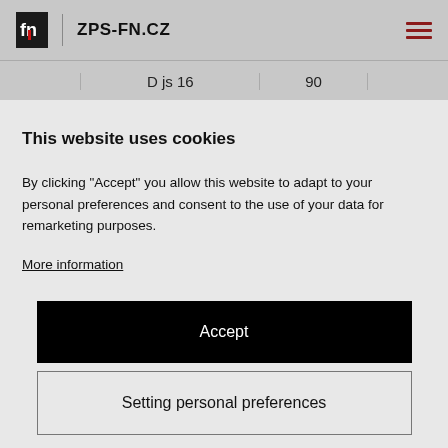ZPS-FN.CZ
|  | D js 16 | 90 |  |
This website uses cookies
By clicking "Accept" you allow this website to adapt to your personal preferences and consent to the use of your data for remarketing purposes.
More information
Accept
Setting personal preferences